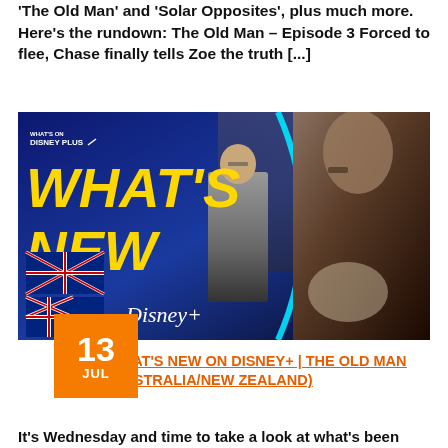'The Old Man' and 'Solar Opposites', plus much more. Here's the rundown: The Old Man – Episode 3 Forced to flee, Chase finally tells Zoe the truth [...]
[Figure (photo): Disney+ promotional image showing 'What's New' in yellow bold text on dark blue background with cyan arc, Australian and New Zealand flags, Disney+ logo, an older man in suit and a close-up of an elderly man's face. Orange date badge reads 13 JUL.]
0
WHAT'S NEW ON DISNEY+ | THE OLD MAN (AUSTRALIA/NEW ZEALAND)
It's Wednesday and time to take a look at what's been